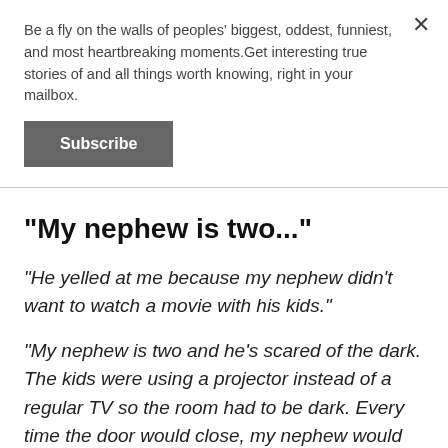Be a fly on the walls of peoples' biggest, oddest, funniest, and most heartbreaking moments.Get interesting true stories of and all things worth knowing, right in your mailbox.
Subscribe
"My nephew is two..."
"He yelled at me because my nephew didn't want to watch a movie with his kids."
"My nephew is two and he's scared of the dark. The kids were using a projector instead of a regular TV so the room had to be dark. Every time the door would close, my nephew would freak out, so I decided to keep him with me."